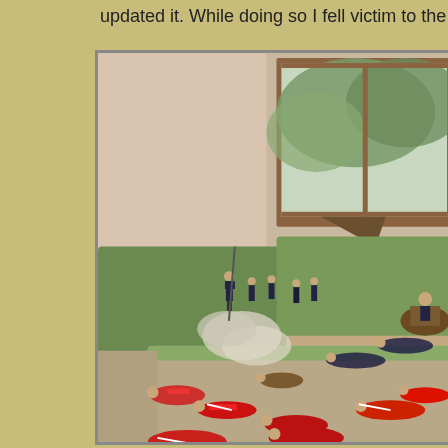updated it. While doing so I fell victim to the temptation to pu
[Figure (photo): A tabletop wargame scene with miniature soldiers (some in red uniforms, some in dark uniforms) arranged on green terrain mats on a floor. Several figures are lying down as casualties. A window with trees visible outside is in the background.]